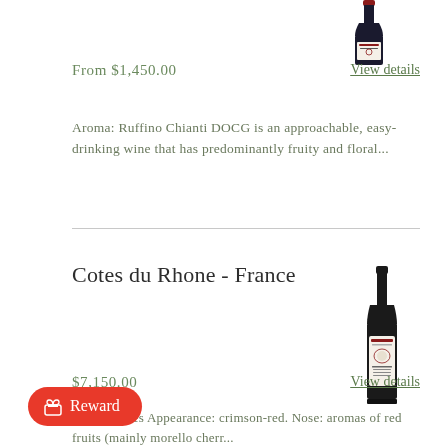[Figure (photo): Wine bottle (Ruffino Chianti) partially visible at top right corner]
From $1,450.00
View details
Aroma: Ruffino Chianti DOCG is an approachable, easy-drinking wine that has predominantly fruity and floral...
[Figure (photo): Wine bottle (Cotes du Rhone) with white label]
Cotes du Rhone - France
$7,150.00
View details
Tasting notes Appearance: crimson-red. Nose: aromas of red fruits (mainly morello cherr...
Reward